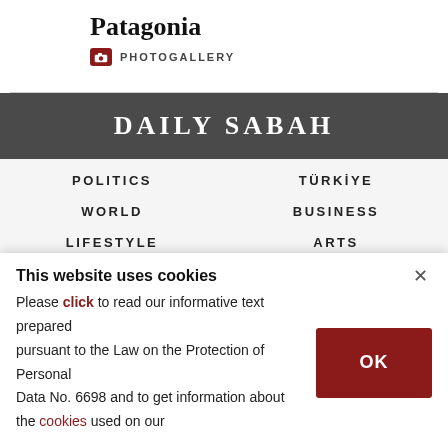Patagonia
PHOTOGALLERY
DAILY SABAH
POLITICS
TÜRKİYE
WORLD
BUSINESS
LIFESTYLE
ARTS
This website uses cookies
Please click to read our informative text prepared pursuant to the Law on the Protection of Personal Data No. 6698 and to get information about the cookies used on our